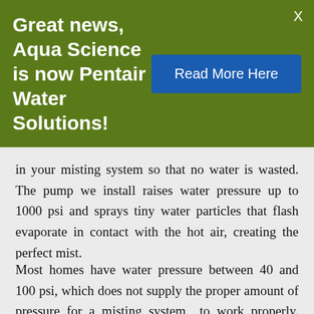Great news, Aqua Science is now Pentair Water Solutions!
Read More Here
in your misting system so that no water is wasted. The pump we install raises water pressure up to 1000 psi and sprays tiny water particles that flash evaporate in contact with the hot air, creating the perfect mist.
Most homes have water pressure between 40 and 100 psi, which does not supply the proper amount of pressure for a misting system to work properly. Since 80 psi is the recommended maximum amount used inside a home, a pump